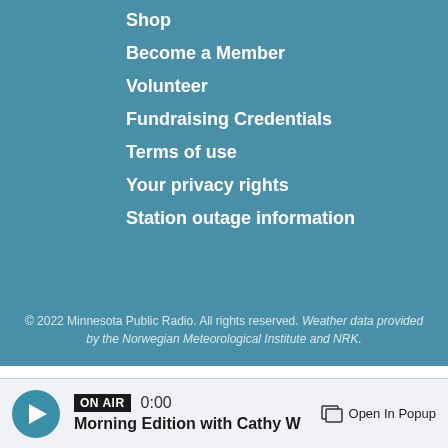Shop
Become a Member
Volunteer
Fundraising Credentials
Terms of use
Your privacy rights
Station outage information
© 2022 Minnesota Public Radio. All rights reserved. Weather data provided by the Norwegian Meteorological Institute and NRK.
ON AIR  0:00  Morning Edition with Cathy W  Open In Popup